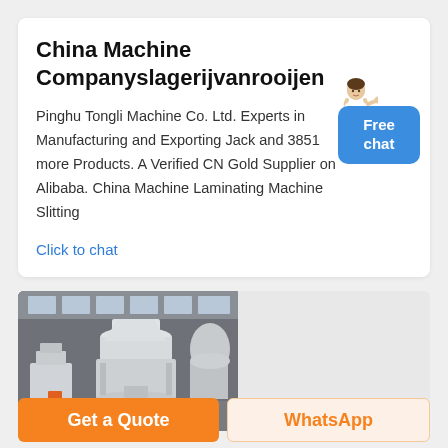China Machine Companyslagerijvanrooijen
Pinghu Tongli Machine Co. Ltd. Experts in Manufacturing and Exporting Jack and 3851 more Products. A Verified CN Gold Supplier on Alibaba. China Machine Laminating Machine Slitting
Click to chat
[Figure (photo): Industrial machinery — large white cone crusher machines in a factory warehouse setting]
Get a Quote
WhatsApp